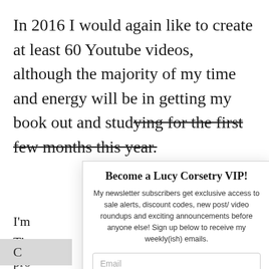In 2016 I would again like to create at least 60 Youtube videos, although the majority of my time and energy will be in getting my book out and studying for the first few months this year.
I'm
Tim
pro
We
reli
pre
All
Ho
pro
Become a Lucy Corsetry VIP!
My newsletter subscribers get exclusive access to sale alerts, discount codes, new post/ video roundups and exciting announcements before anyone else! Sign up below to receive my weekly(ish) emails.
Email
Name
Opt in to receive news and updates.
SUBSCRIBE